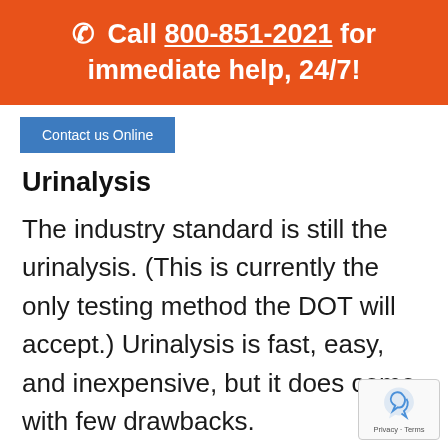📞 Call 800-851-2021 for immediate help, 24/7!
Contact us Online
Urinalysis
The industry standard is still the urinalysis. (This is currently the only testing method the DOT will accept.) Urinalysis is fast, easy, and inexpensive, but it does come with few drawbacks.